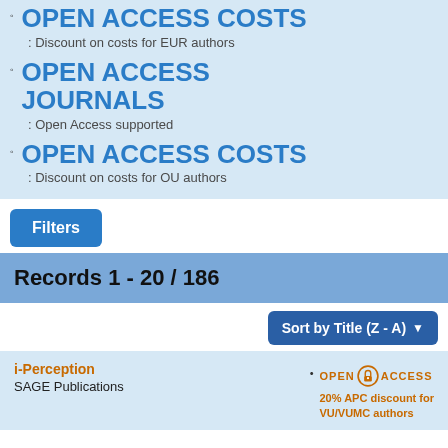OPEN ACCESS COSTS: Discount on costs for EUR authors
OPEN ACCESS JOURNALS: Open Access supported
OPEN ACCESS COSTS: Discount on costs for OU authors
Filters
Records 1 - 20 / 186
Sort by Title (Z - A)
i-Perception
SAGE Publications
20% APC discount for VU/VUMC authors